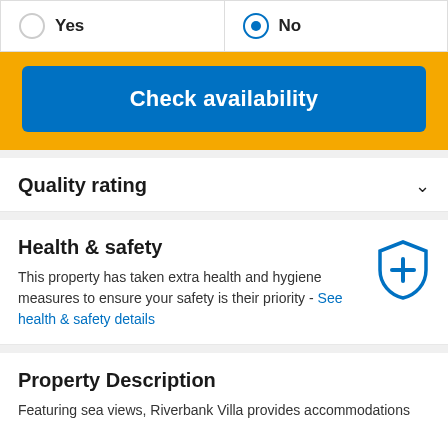[Figure (screenshot): Radio button row with two options: 'Yes' (unselected) and 'No' (selected, filled blue circle)]
[Figure (screenshot): Blue 'Check availability' button on yellow background]
Quality rating
Health & safety
This property has taken extra health and hygiene measures to ensure your safety is their priority - See health & safety details
Property Description
Featuring sea views, Riverbank Villa provides accommodations